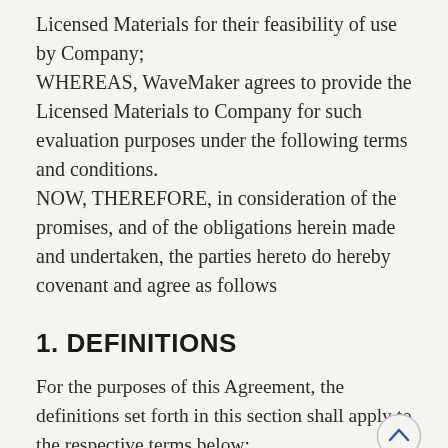Licensed Materials for their feasibility of use by Company; WHEREAS, WaveMaker agrees to provide the Licensed Materials to Company for such evaluation purposes under the following terms and conditions. NOW, THEREFORE, in consideration of the promises, and of the obligations herein made and undertaken, the parties hereto do hereby covenant and agree as follows
1. DEFINITIONS
For the purposes of this Agreement, the definitions set forth in this section shall apply to the respective terms below:
1.1. “Company Product” mean any products,